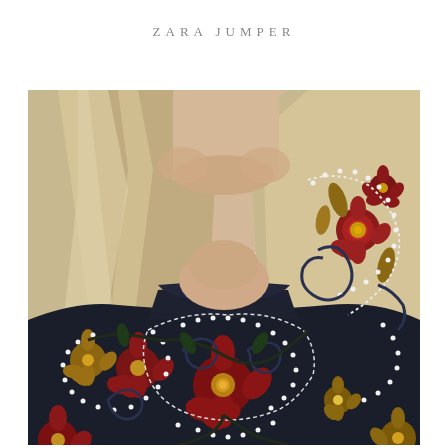ZARA JUMPER
[Figure (photo): Close-up selfie of a woman with long blonde hair wearing a dark navy Zara jumper/sweater with colorful floral embroidery and pearl/bead detailing. The woman is wearing pink/coral lipstick. The embroidery features red, gold, and dark flowers with white beaded outlines on the dark knit fabric. Only the lower face, neck, and torso are visible.]